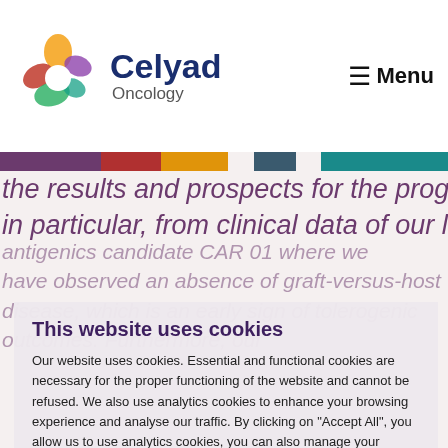Celyad Oncology — Menu
[Figure (logo): Celyad Oncology logo with colorful drop/shield shape and text 'Celyad Oncology']
the results and prospects for the program and, in particular, from clinical data of our lead
This website uses cookies
Our website uses cookies. Essential and functional cookies are necessary for the proper functioning of the website and cannot be refused. We also use analytics cookies to enhance your browsing experience and analyse our traffic. By clicking on "Accept All", you allow us to use analytics cookies, you can also manage your preferences by clicking on "Preferences". The analystics cookies are only activated if you accept the cookies. You can find out more information about the cookies we use by visiting our Cookie Policy.
Preferences
Refuse All
Accept All